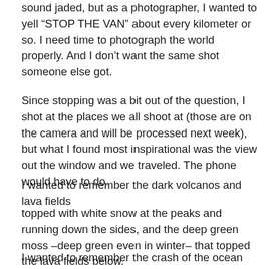sound jaded, but as a photographer, I wanted to yell “STOP THE VAN” about every kilometer or so. I need time to photograph the world properly. And I don’t want the same shot someone else got.
Since stopping was a bit out of the question, I shot at the places we all shoot at (those are on the camera and will be processed next week), but what I found most inspirational was the view out the window and we traveled. The phone would have to do.
I wanted to remember the dark volcanos and lava fields topped with white snow at the peaks and running down the sides, and the deep green moss –deep green even in winter– that topped the lava fields below.
I wanted to remember the crash of the ocean against the black sand beaches as we were pummeled with sand and